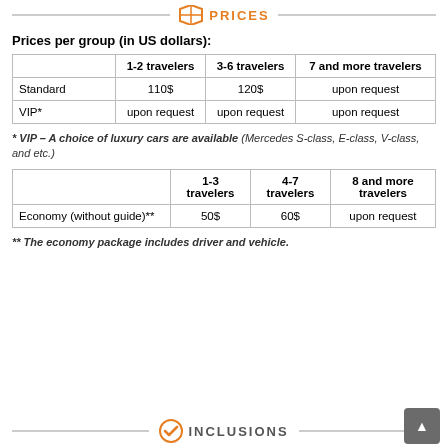PRICES
Prices per group (in US dollars):
|  | 1-2 travelers | 3-6 travelers | 7 and more travelers |
| --- | --- | --- | --- |
| Standard | 110$ | 120$ | upon request |
| VIP* | upon request | upon request | upon request |
* VIP – A choice of luxury cars are available (Mercedes S-class, E-class, V-class, and etc.)
|  | 1-3 travelers | 4-7 travelers | 8 and more travelers |
| --- | --- | --- | --- |
| Economy (without guide)** | 50$ | 60$ | upon request |
** The economy package includes driver and vehicle.
INCLUSIONS